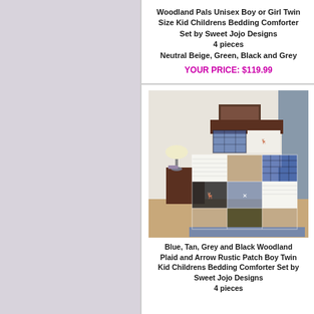Woodland Pals Unisex Boy or Girl Twin Size Kid Childrens Bedding Comforter Set by Sweet Jojo Designs 4 pieces Neutral Beige, Green, Black and Grey
YOUR PRICE: $119.99
[Figure (photo): Patchwork quilt bedding set with blue, tan, grey and black plaid and moose/arrow patterns on a twin bed with grey curtains and wood nightstand]
Blue, Tan, Grey and Black Woodland Plaid and Arrow Rustic Patch Boy Twin Kid Childrens Bedding Comforter Set by Sweet Jojo Designs 4 pieces